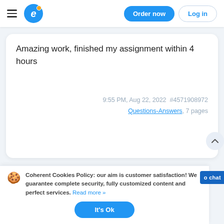Order now | Log in
Amazing work, finished my assignment within 4 hours
9:55 PM, Aug 22, 2022  #4571908972
Questions-Answers, 7 pages
Coherent Cookies Policy: our aim is customer satisfaction! We guarantee complete security, fully customized content and perfect services. Read more »
It's Ok